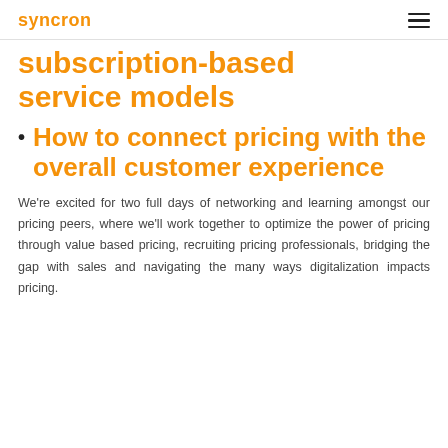syncron
subscription-based service models
How to connect pricing with the overall customer experience
We're excited for two full days of networking and learning amongst our pricing peers, where we'll work together to optimize the power of pricing through value based pricing, recruiting pricing professionals, bridging the gap with sales and navigating the many ways digitalization impacts pricing.